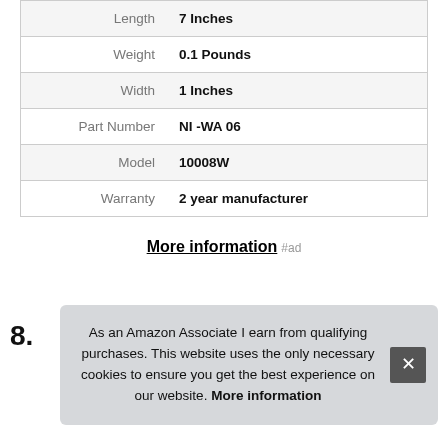| Attribute | Value |
| --- | --- |
| Length | 7 Inches |
| Weight | 0.1 Pounds |
| Width | 1 Inches |
| Part Number | NI -WA 06 |
| Model | 10008W |
| Warranty | 2 year manufacturer |
More information #ad
8.
As an Amazon Associate I earn from qualifying purchases. This website uses the only necessary cookies to ensure you get the best experience on our website. More information